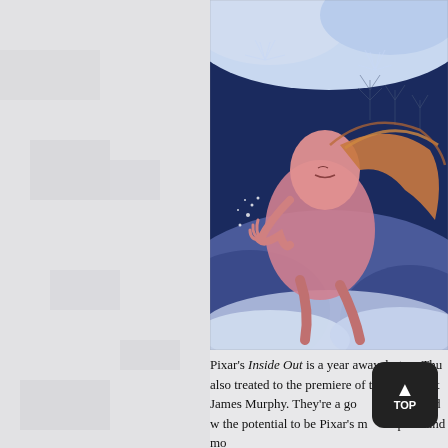[Figure (photo): Animated illustration from Pixar's Inside Out or related short, showing a pink figure with flowing blonde/auburn hair running or moving through a snowy, wintry scene with blue and white tones]
Pixar's Inside Out is a year away, but on Thu also treated to the premiere of the next short James Murphy. They're a good match and w the potential to be Pixar's most profound mo